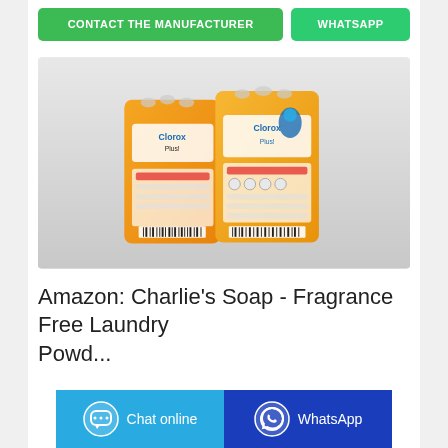[Figure (other): Two green buttons: 'CONTACT THE MANUFACTURER' and 'WHATSAPP']
[Figure (photo): Product photo of orange laundry detergent powder bags (brand appears to be 'Clorox' or similar), shown from the back, on a white/grey background.]
Amazon: Charlie's Soap - Fragrance Free Laundry Powd...
[Figure (other): Bottom bar with 'Chat online' (blue) and 'WhatsApp' (dark blue) buttons with icons]